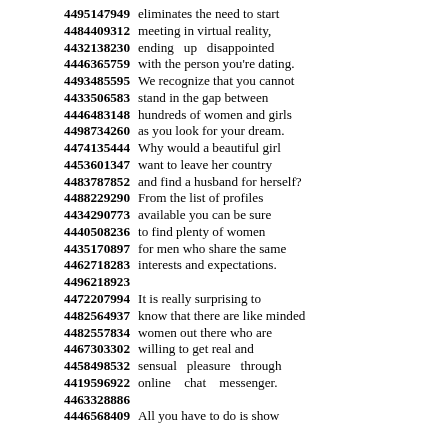4495147949 eliminates the need to start
4484409312 meeting in virtual reality,
4432138230 ending up disappointed
4446365759 with the person you're dating.
4493485595 We recognize that you cannot
4433506583 stand in the gap between
4446483148 hundreds of women and girls
4498734260 as you look for your dream.
4474135444 Why would a beautiful girl
4453601347 want to leave her country
4483787852 and find a husband for herself?
4488229290 From the list of profiles
4434290773 available you can be sure
4440508236 to find plenty of women
4435170897 for men who share the same
4462718283 interests and expectations.
4496218923
4472207994 It is really surprising to
4482564937 know that there are like minded
4482557834 women out there who are
4467303302 willing to get real and
4458498532 sensual pleasure through
4419596922 online chat messenger.
4463328886
4446568409 All you have to do is show